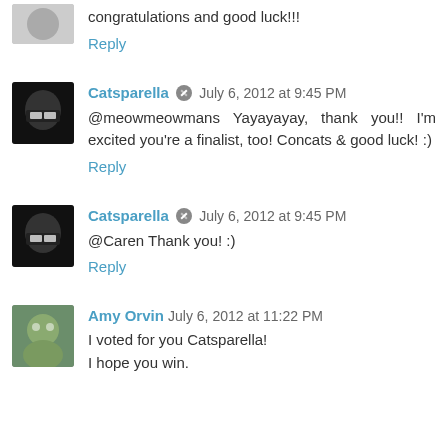congratulations and good luck!!!
Reply
Catsparella  July 6, 2012 at 9:45 PM
@meowmeowmans Yayayayay, thank you!!  I'm excited you're a finalist, too! Concats & good luck! :)
Reply
Catsparella  July 6, 2012 at 9:45 PM
@Caren Thank you! :)
Reply
Amy Orvin  July 6, 2012 at 11:22 PM
I voted for you Catsparella!
I hope you win.